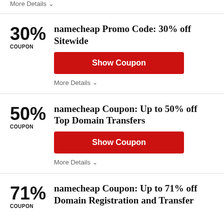More Details ∨
30% COUPON
namecheap Promo Code: 30% off Sitewide
Show Coupon
More Details ∨
50% COUPON
namecheap Coupon: Up to 50% off Top Domain Transfers
Show Coupon
More Details ∨
71% COUPON
namecheap Coupon: Up to 71% off Domain Registration and Transfer